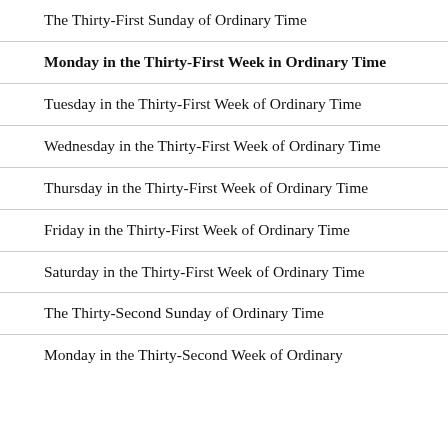The Thirty-First Sunday of Ordinary Time
Monday in the Thirty-First Week in Ordinary Time
Tuesday in the Thirty-First Week of Ordinary Time
Wednesday in the Thirty-First Week of Ordinary Time
Thursday in the Thirty-First Week of Ordinary Time
Friday in the Thirty-First Week of Ordinary Time
Saturday in the Thirty-First Week of Ordinary Time
The Thirty-Second Sunday of Ordinary Time
Monday in the Thirty-Second Week of Ordinary